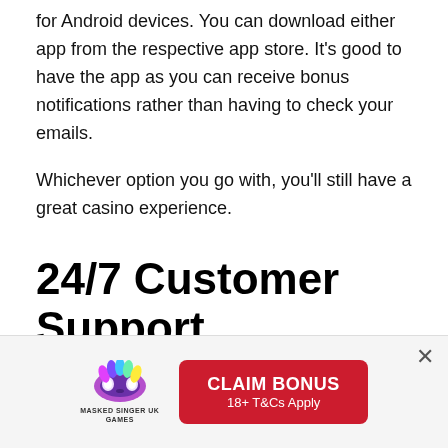for Android devices. You can download either app from the respective app store. It's good to have the app as you can receive bonus notifications rather than having to check your emails.
Whichever option you go with, you'll still have a great casino experience.
24/7 Customer Support
[Figure (other): Banner advertisement with Masked Singer UK Games logo and a red 'CLAIM BONUS 18+ T&Cs Apply' button, with a close (×) button in the top right.]